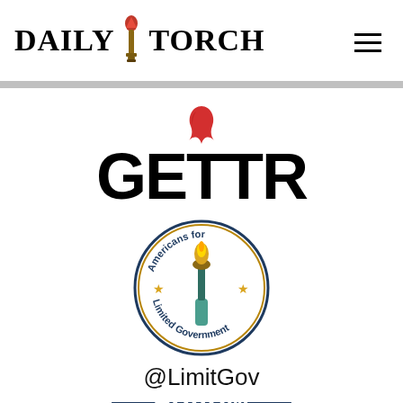DAILY TORCH
[Figure (logo): GETTR social media platform logo — red flame above bold black text GETTR]
[Figure (logo): Americans for Limited Government circular seal logo with torch of liberty and gold stars]
@LimitGov
[Figure (other): Blue rounded rectangle Follow button]